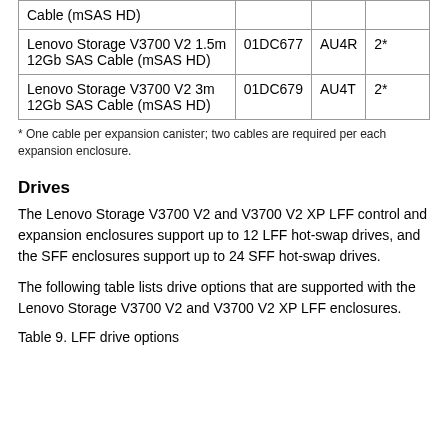| Cable (mSAS HD) |  |  |  |
| Lenovo Storage V3700 V2 1.5m 12Gb SAS Cable (mSAS HD) | 01DC677 | AU4R | 2* |
| Lenovo Storage V3700 V2 3m 12Gb SAS Cable (mSAS HD) | 01DC679 | AU4T | 2* |
* One cable per expansion canister; two cables are required per each expansion enclosure.
Drives
The Lenovo Storage V3700 V2 and V3700 V2 XP LFF control and expansion enclosures support up to 12 LFF hot-swap drives, and the SFF enclosures support up to 24 SFF hot-swap drives.
The following table lists drive options that are supported with the Lenovo Storage V3700 V2 and V3700 V2 XP LFF enclosures.
Table 9. LFF drive options